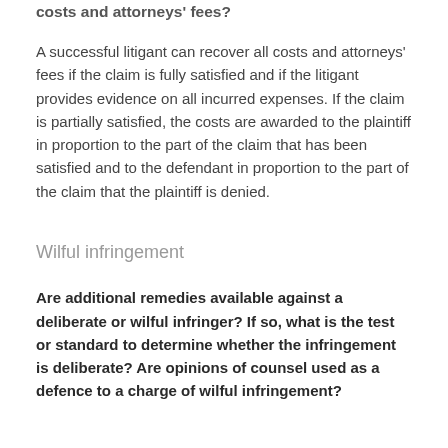costs and attorneys' fees?
A successful litigant can recover all costs and attorneys' fees if the claim is fully satisfied and if the litigant provides evidence on all incurred expenses. If the claim is partially satisfied, the costs are awarded to the plaintiff in proportion to the part of the claim that has been satisfied and to the defendant in proportion to the part of the claim that the plaintiff is denied.
Wilful infringement
Are additional remedies available against a deliberate or wilful infringer? If so, what is the test or standard to determine whether the infringement is deliberate? Are opinions of counsel used as a defence to a charge of wilful infringement?